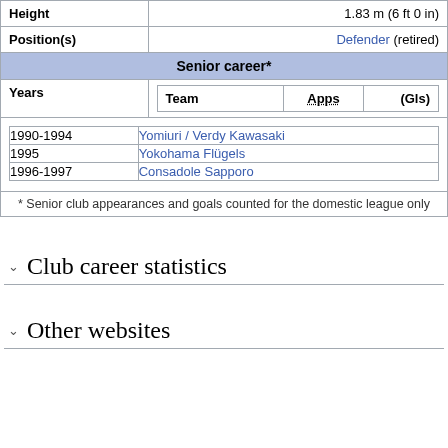|  |  |
| --- | --- |
| Height | 1.83 m (6 ft 0 in) |
| Position(s) | Defender (retired) |
| Senior career* |  |
| Years | Team | Apps | (Gls) |
| 1990-1994 | Yomiuri / Verdy Kawasaki |
| 1995 | Yokohama Flügels |
| 1996-1997 | Consadole Sapporo |
| * Senior club appearances and goals counted for the domestic league only |  |
Club career statistics
Other websites